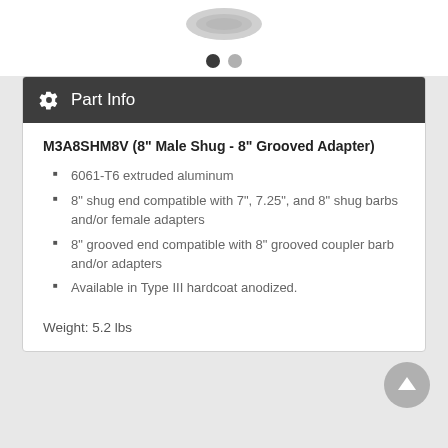[Figure (photo): Partial view of a silver aluminum adapter fitting at the top of the page]
Part Info
M3A8SHM8V (8" Male Shug - 8" Grooved Adapter)
6061-T6 extruded aluminum
8" shug end compatible with 7", 7.25", and 8" shug barbs and/or female adapters
8" grooved end compatible with 8" grooved coupler barb and/or adapters
Available in Type III hardcoat anodized.
Weight: 5.2 lbs